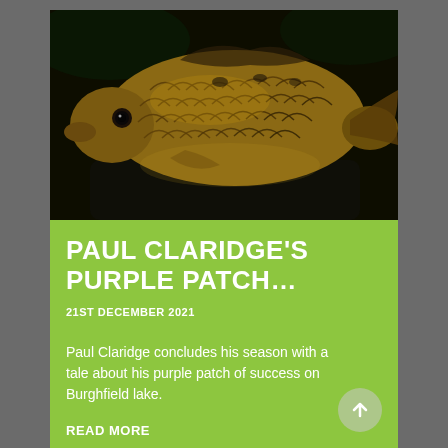[Figure (photo): A large common carp fish being held up, showing its golden-brown scales in detail against a dark background. The fish is large with prominent scales.]
PAUL CLARIDGE'S PURPLE PATCH…
21ST DECEMBER 2021
Paul Claridge concludes his season with a tale about his purple patch of success on Burghfield lake.
READ MORE